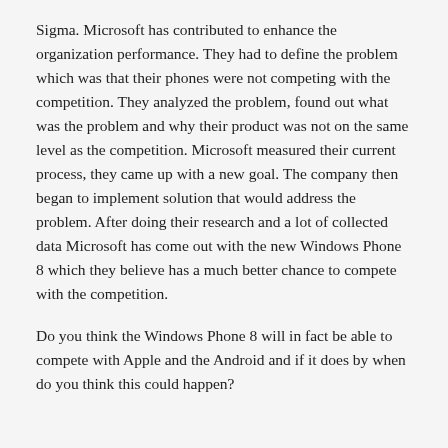Sigma. Microsoft has contributed to enhance the organization performance. They had to define the problem which was that their phones were not competing with the competition. They analyzed the problem, found out what was the problem and why their product was not on the same level as the competition. Microsoft measured their current process, they came up with a new goal. The company then began to implement solution that would address the problem. After doing their research and a lot of collected data Microsoft has come out with the new Windows Phone 8 which they believe has a much better chance to compete with the competition.
Do you think the Windows Phone 8 will in fact be able to compete with Apple and the Android and if it does by when do you think this could happen?